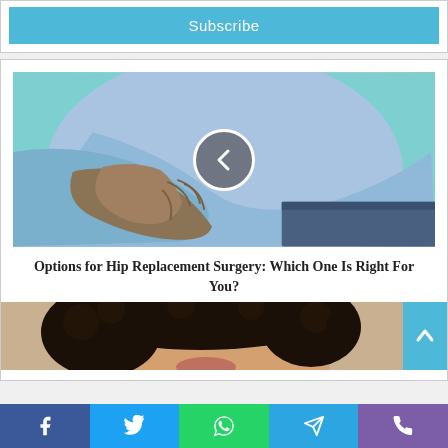Subscribe
[Figure (photo): Person holding their hip area, wearing a light blue shirt and jeans, teal background, with a circular navigation back-arrow button overlaid in center]
Options for Hip Replacement Surgery: Which One Is Right For You?
[Figure (photo): Partial view of a woman's face with curly dark hair, close-up]